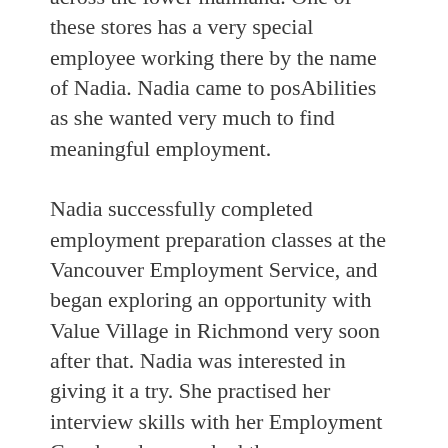across the lower mainland. One of these stores has a very special employee working there by the name of Nadia. Nadia came to posAbilities as she wanted very much to find meaningful employment.
Nadia successfully completed employment preparation classes at the Vancouver Employment Service, and began exploring an opportunity with Value Village in Richmond very soon after that. Nadia was interested in giving it a try. She practised her interview skills with her Employment Coach and researched the company. After doing this, Nadia went to a Value Village store in Vancouver with her Coach to observe the different tasks staff were carrying out and to see how the store was organized and labelled. Nadia really liked what she saw!
Nadia soon met the Store Manager who agreed to a working interview. This working interview gave Nadia the opportunity to showcase her skills, and gave both parties the